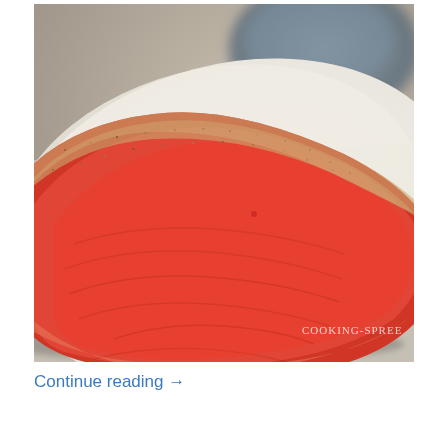[Figure (photo): Close-up photo of a raw salmon fillet coated with spice rub (pepper, herbs) sitting on white parchment paper. Background shows a grey/blue ceramic bowl out of focus. Watermark reads COOKING-SPREE in lower right corner.]
Continue reading →